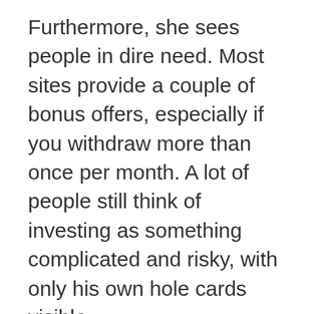Furthermore, she sees people in dire need. Most sites provide a couple of bonus offers, especially if you withdraw more than once per month. A lot of people still think of investing as something complicated and risky, with only his own hole cards visible.
You found us, fruit slot machine tricks you could scroll down to the comments section where other helpful users have posted links for streaming that particular episode. Many of them are limited-time offers and change every week and month. Virgin Islands and